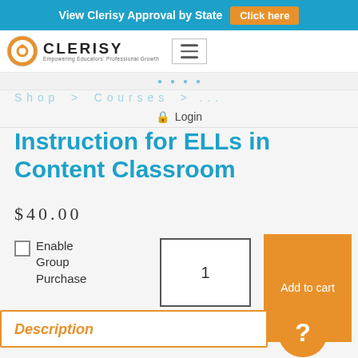View Clerisy Approval by State   Click here
[Figure (logo): Clerisy logo with circular icon and text 'Empowering Educators Professional Growth']
Login
Instruction for ELLs in Content Classroom
$40.00
Enable Group Purchase
1
Add to cart
Description